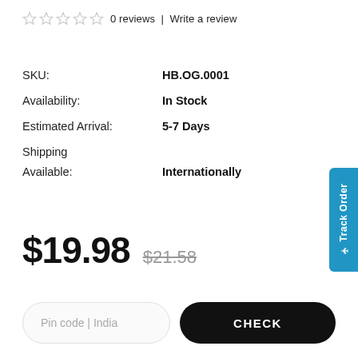0 reviews | Write a review
| Field | Value |
| --- | --- |
| SKU: | HB.OG.0001 |
| Availability: | In Stock |
| Estimated Arrival: | 5-7 Days |
| Shipping Available: | Internationally |
$19.98  $21.58
Pin code | India  CHECK
[Figure (screenshot): Track Order tab on right side, blue vertical button]